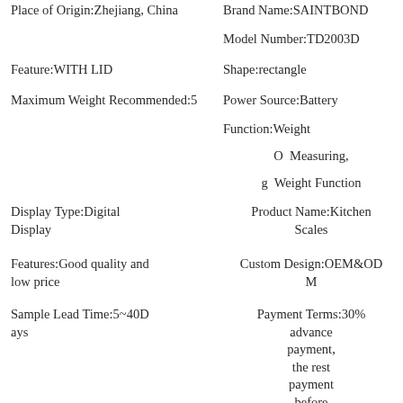Place of Origin:Zhejiang, China
Brand Name:SAINTBOND
Model Number:TD2003D
Feature:WITH LID
Shape:rectangle
Maximum Weight Recommended:5
Power Source:Battery
Function:Weight O Measuring, g Weight Function
Display Type:Digital Display
Product Name:Kitchen Scales
Features:Good quality and low price
Custom Design:OEM&ODM
Sample Lead Time:5~40Days
Payment Terms:30% advance payment, the rest payment before delivery